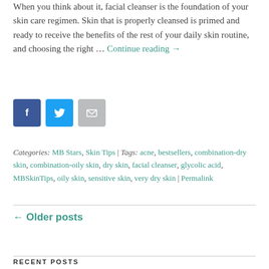When you think about it, facial cleanser is the foundation of your skin care regimen. Skin that is properly cleansed is primed and ready to receive the benefits of the rest of your daily skin routine, and choosing the right … Continue reading →
[Figure (infographic): Three social sharing buttons: Facebook (dark blue), Twitter (light blue), Email (gray)]
Categories: MB Stars, Skin Tips | Tags: acne, bestsellers, combination-dry skin, combination-oily skin, dry skin, facial cleanser, glycolic acid, MBSkinTips, oily skin, sensitive skin, very dry skin | Permalink
← Older posts
RECENT POSTS